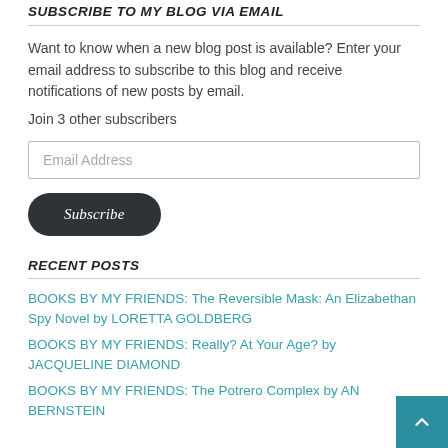SUBSCRIBE TO MY BLOG VIA EMAIL
Want to know when a new blog post is available? Enter your email address to subscribe to this blog and receive notifications of new posts by email.
Join 3 other subscribers
Email Address
Subscribe
RECENT POSTS
BOOKS BY MY FRIENDS: The Reversible Mask: An Elizabethan Spy Novel by LORETTA GOLDBERG
BOOKS BY MY FRIENDS: Really? At Your Age? by JACQUELINE DIAMOND
BOOKS BY MY FRIENDS: The Potrero Complex by AN BERNSTEIN